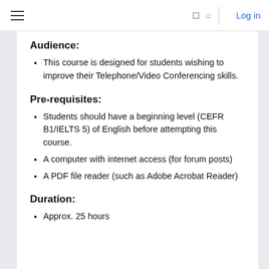Log in
Audience:
This course is designed for students wishing to improve their Telephone/Video Conferencing skills.
Pre-requisites:
Students should have a beginning level (CEFR B1/IELTS 5) of English before attempting this course.
A computer with internet access (for forum posts)
A PDF file reader (such as Adobe Acrobat Reader)
Duration:
Approx. 25 hours